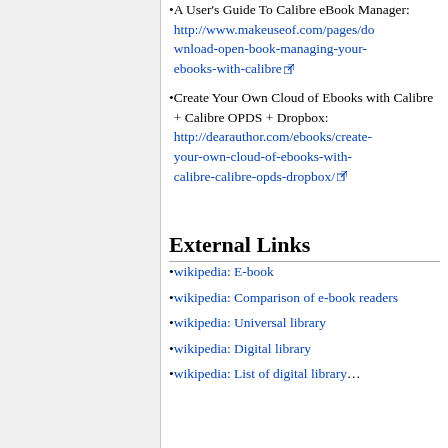A User's Guide To Calibre eBook Manager: http://www.makeuseof.com/pages/download-open-book-managing-your-ebooks-with-calibre [external link]
Create Your Own Cloud of Ebooks with Calibre + Calibre OPDS + Dropbox: http://dearauthor.com/ebooks/create-your-own-cloud-of-ebooks-with-calibre-calibre-opds-dropbox/ [external link]
External Links
wikipedia: E-book
wikipedia: Comparison of e-book readers
wikipedia: Universal library
wikipedia: Digital library
wikipedia: List of digital library...